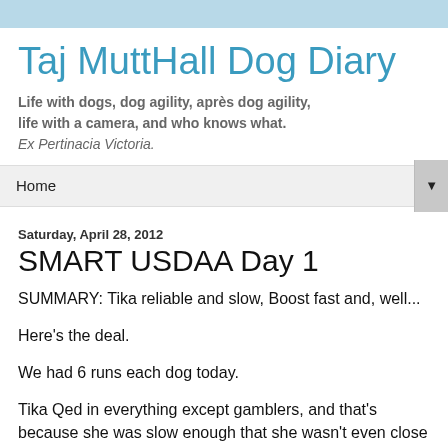Taj MuttHall Dog Diary
Life with dogs, dog agility, après dog agility, life with a camera, and who knows what. Ex Pertinacia Victoria.
Home
Saturday, April 28, 2012
SMART USDAA Day 1
SUMMARY: Tika reliable and slow, Boost fast and, well...
Here's the deal.
We had 6 runs each dog today.
Tika Qed in everything except gamblers, and that's because she was slow enough that she wasn't even close to where I